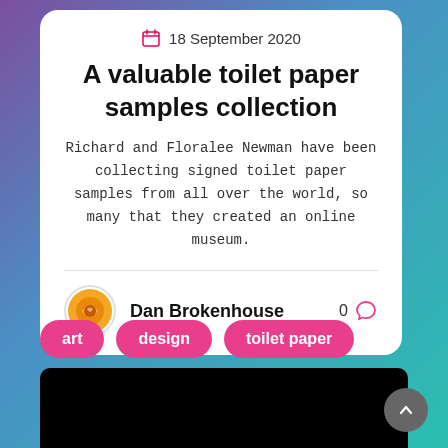18 September 2020
A valuable toilet paper samples collection
Richard and Floralee Newman have been collecting signed toilet paper samples from all over the world, so many that they created an online museum.
Dan Brokenhouse
0
art
design
toilet paper